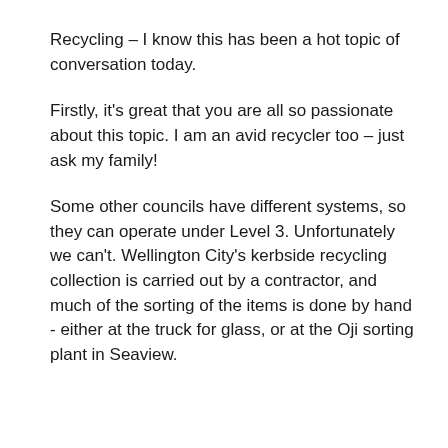Recycling – I know this has been a hot topic of conversation today.
Firstly, it's great that you are all so passionate about this topic. I am an avid recycler too – just ask my family!
Some other councils have different systems, so they can operate under Level 3. Unfortunately we can't. Wellington City's kerbside recycling collection is carried out by a contractor, and much of the sorting of the items is done by hand - either at the truck for glass, or at the Oji sorting plant in Seaview.